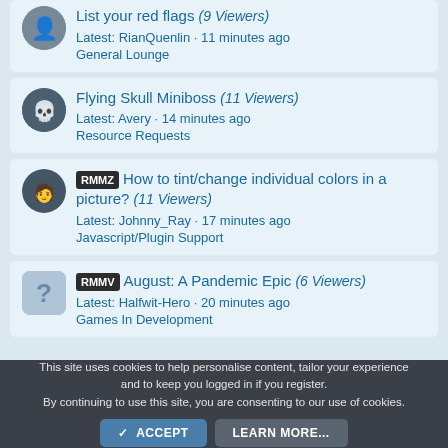List your red flags (9 Viewers) Latest: RianQuenlin · 11 minutes ago General Lounge
Flying Skull Miniboss (11 Viewers) Latest: Avery · 14 minutes ago Resource Requests
RMMZ How to tint/change individual colors in a picture? (11 Viewers) Latest: Johnny_Ray · 17 minutes ago Javascript/Plugin Support
RMMV August: A Pandemic Epic (6 Viewers) Latest: Halfwit-Hero · 20 minutes ago Games In Development
This site uses cookies to help personalise content, tailor your experience and to keep you logged in if you register. By continuing to use this site, you are consenting to our use of cookies.
✓ ACCEPT   LEARN MORE...